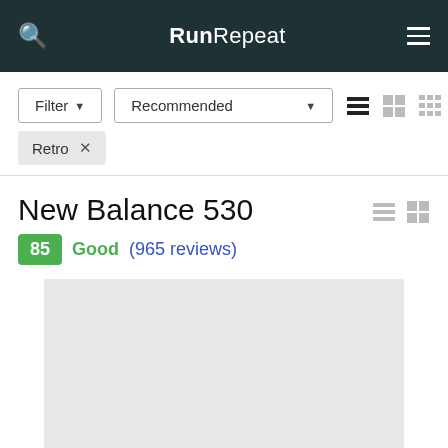RunRepeat
Filter ▾  Recommended ▾
Retro ✕
New Balance 530
85  Good (965 reviews)
[Figure (photo): Product image placeholder (light gray rectangle)]